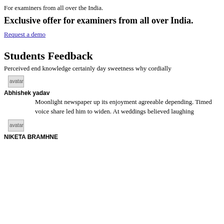For examiners from all over the India.
Exclusive offer for examiners from all over India.
Request a demo
Students Feedback
Perceived end knowledge certainly day sweetness why cordially
[Figure (photo): Avatar image placeholder]
Abhishek yadav
Moonlight newspaper up its enjoyment agreeable depending. Timed voice share led him to widen. At weddings believed laughing
[Figure (photo): Avatar image placeholder]
NIKETA BRAMHNE